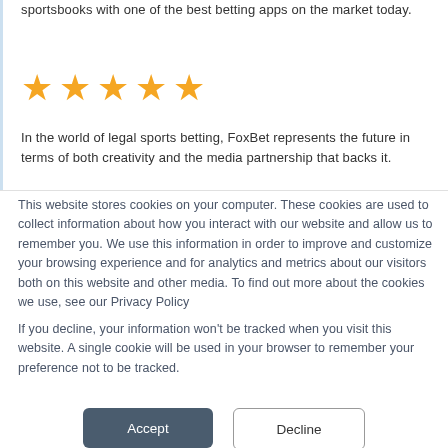sportsbooks with one of the best betting apps on the market today.
[Figure (other): Five orange star rating icons]
In the world of legal sports betting, FoxBet represents the future in terms of both creativity and the media partnership that backs it.
This website stores cookies on your computer. These cookies are used to collect information about how you interact with our website and allow us to remember you. We use this information in order to improve and customize your browsing experience and for analytics and metrics about our visitors both on this website and other media. To find out more about the cookies we use, see our Privacy Policy
If you decline, your information won't be tracked when you visit this website. A single cookie will be used in your browser to remember your preference not to be tracked.
Accept
Decline